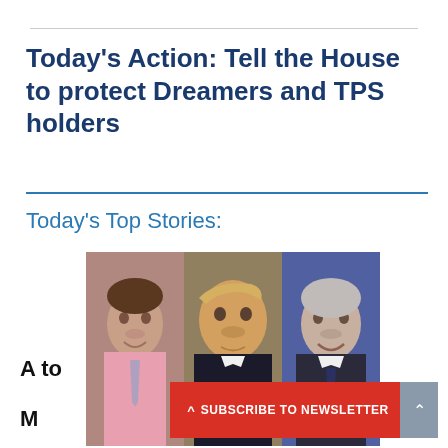Today’s Action: Tell the House to protect Dreamers and TPS holders
Today’s Top Stories:
[Figure (photo): Composite photo of three men side by side: a younger man in a pink shirt and tie on the left, Donald Trump in the center, and an older smiling man in a suit on the right.]
A to
M